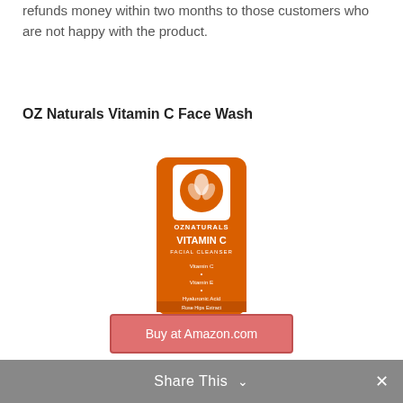refunds money within two months to those customers who are not happy with the product.
OZ Naturals Vitamin C Face Wash
[Figure (photo): OZ Naturals Vitamin C Facial Cleanser product tube, orange colored squeeze tube with white cap, showing ingredients: Vitamin C, Vitamin E, Hyaluronic Acid, Rose Hips Extract]
[Figure (screenshot): Buy at Amazon.com button (pinkish-red rectangular button)]
Share This